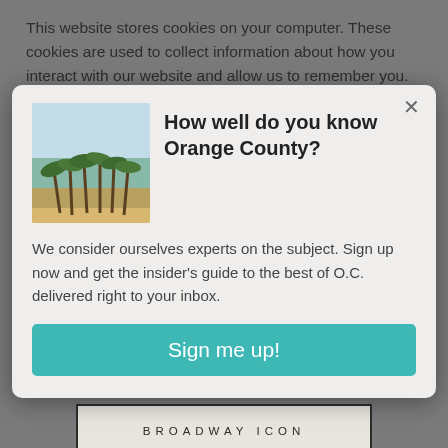This website stores cookies on your computer. These cookies are used to collect information about how you interact with our website and allow us to remember you. We
[Figure (screenshot): Modal popup dialog with a beach/palm trees thumbnail image, title 'How well do you know Orange County?', body text about signing up for insider guide, and a teal 'Sign me up!' button]
How well do you know Orange County?
We consider ourselves experts on the subject. Sign up now and get the insider's guide to the best of O.C. delivered right to your inbox.
Sign me up!
[Figure (screenshot): Navigation arrows (left and right) for a carousel]
[Figure (illustration): Broadway Icon text logo in a black border box]